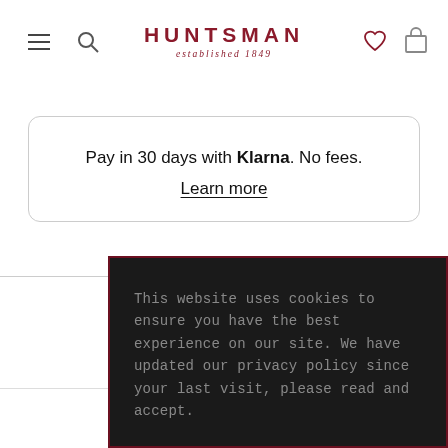HUNTSMAN established 1849
Pay in 30 days with Klarna. No fees. Learn more
This website uses cookies to ensure you have the best experience on our site. We have updated our privacy policy since your last visit, please read and accept.
OKAY
READ MORE